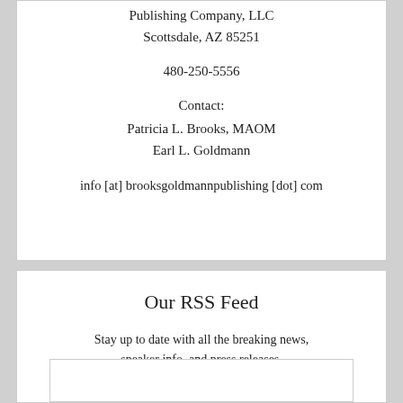Publishing Company, LLC
Scottsdale, AZ 85251

480-250-5556

Contact:
Patricia L. Brooks, MAOM
Earl L. Goldmann

info [at] brooksgoldmannpublishing [dot] com
Our RSS Feed
Stay up to date with all the breaking news, speaker info, and press releases.